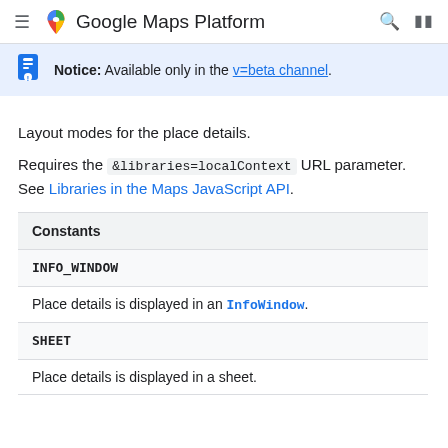Google Maps Platform
Notice: Available only in the v=beta channel.
Layout modes for the place details.
Requires the &libraries=localContext URL parameter. See Libraries in the Maps JavaScript API.
| Constants |
| --- |
| INFO_WINDOW | Place details is displayed in an InfoWindow. |
| SHEET | Place details is displayed in a sheet. |